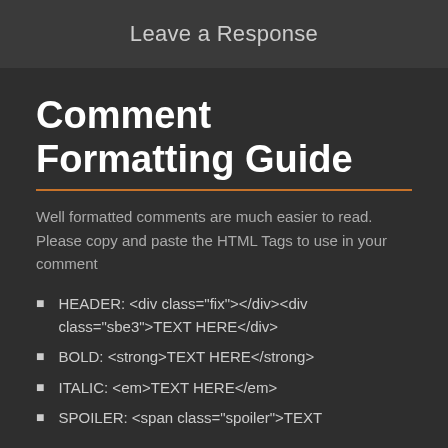Leave a Response
Comment Formatting Guide
Well formatted comments are much easier to read. Please copy and paste the HTML Tags to use in your comment
HEADER: <div class="fix"></div><div class="sbe3">TEXT HERE</div>
BOLD: <strong>TEXT HERE</strong>
ITALIC: <em>TEXT HERE</em>
SPOILER: <span class="spoiler">TEXT